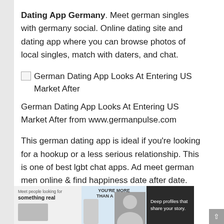Dating App Germany. Meet german singles with germany social. Online dating site and dating app where you can browse photos of local singles, match with daters, and chat.
[Figure (other): Broken image placeholder with alt text: German Dating App Looks At Entering US Market After]
German Dating App Looks At Entering US Market After from www.germanpulse.com
This german dating app is ideal if you're looking for a hookup or a less serious relationship. This is one of best lgbt chat apps. Ad meet german men online & find happiness date after date.
[Figure (photo): Advertisement banner showing three panels: left panel with text 'Meet people looking for something real', middle panel with blue background showing 'YOU'RE MORE THAN A PHOTO.' and a phone with a person's photo, right panel with dark background showing 'Deep profiles that share your story.']